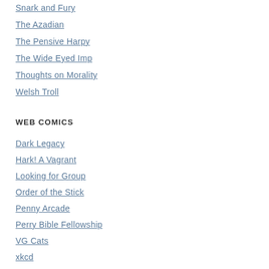Snark and Fury
The Azadian
The Pensive Harpy
The Wide Eyed Imp
Thoughts on Morality
Welsh Troll
WEB COMICS
Dark Legacy
Hark! A Vagrant
Looking for Group
Order of the Stick
Penny Arcade
Perry Bible Fellowship
VG Cats
xkcd